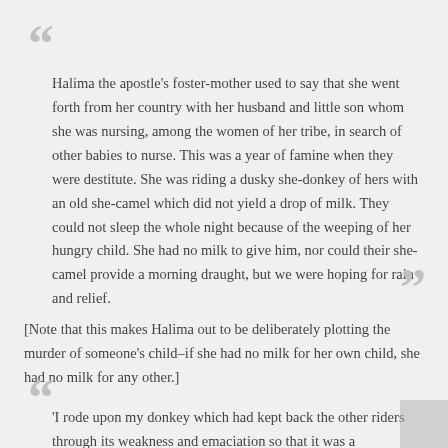Halima the apostle's foster-mother used to say that she went forth from her country with her husband and little son whom she was nursing, among the women of her tribe, in search of other babies to nurse. This was a year of famine when they were destitute. She was riding a dusky she-donkey of hers with an old she-camel which did not yield a drop of milk. They could not sleep the whole night because of the weeping of her hungry child. She had no milk to give him, nor could their she-camel provide a morning draught, but we were hoping for rain and relief.
[Note that this makes Halima out to be deliberately plotting the murder of someone's child–if she had no milk for her own child, she had no milk for any other.]
'I rode upon my donkey which had kept back the other riders through its weakness and emaciation so that it was a